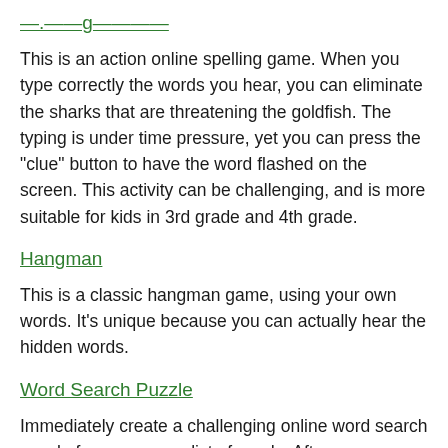—.——g————
This is an action online spelling game. When you type correctly the words you hear, you can eliminate the sharks that are threatening the goldfish. The typing is under time pressure, yet you can press the "clue" button to have the word flashed on the screen. This activity can be challenging, and is more suitable for kids in 3rd grade and 4th grade.
Hangman
This is a classic hangman game, using your own words. It's unique because you can actually hear the hidden words.
Word Search Puzzle
Immediately create a challenging online word search puzzle from your own list of words. After